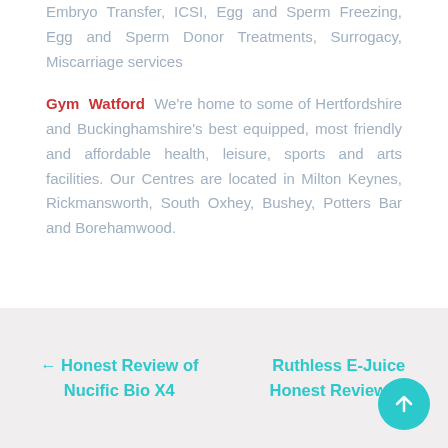Embryo Transfer, ICSI, Egg and Sperm Freezing, Egg and Sperm Donor Treatments, Surrogacy, Miscarriage services
Gym Watford We’re home to some of Hertfordshire and Buckinghamshire’s best equipped, most friendly and affordable health, leisure, sports and arts facilities. Our Centres are located in Milton Keynes, Rickmansworth, South Oxhey, Bushey, Potters Bar and Borehamwood.
← Honest Review of Nucific Bio X4 | Ruthless E-Juice Honest Review →